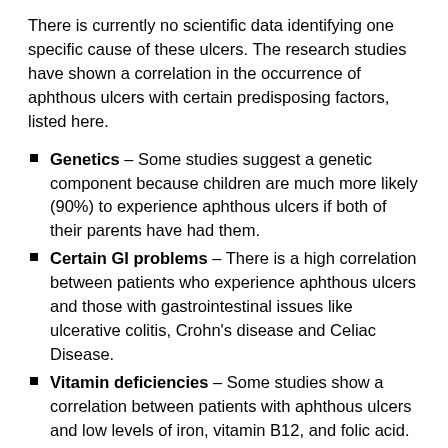There is currently no scientific data identifying one specific cause of these ulcers.  The research studies have shown a correlation in the occurrence of aphthous ulcers with certain predisposing factors, listed here.
Genetics – Some studies suggest a genetic component because children are much more likely (90%) to experience aphthous ulcers if both of their parents have had them.
Certain GI problems – There is a high correlation between patients who experience aphthous ulcers and those with gastrointestinal issues like ulcerative colitis, Crohn's disease and Celiac Disease.
Vitamin deficiencies – Some studies show a correlation between patients with aphthous ulcers and low levels of iron, vitamin B12, and folic acid.
Hormone levels – Many women experience aphthous ulcers at regular intervals correlating to their menstrual cycle.